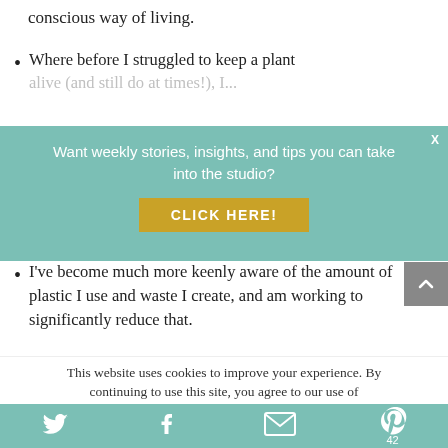conscious way of living.
Where before I struggled to keep a plant alive (and still do at times!), I...
[Figure (infographic): Teal banner overlay with text 'Want weekly stories, insights, and tips you can take into the studio?' and a gold 'CLICK HERE!' button. An X close button is in the top right corner.]
I've become much more keenly aware of the amount of plastic I use and waste I create, and am working to significantly reduce that.
I've started making my own bathroom and cleaning products, to cut down on chemicals and packaging.
This website uses cookies to improve your experience. By continuing to use this site, you agree to our use of
Twitter | Facebook | Email | Pinterest (42)